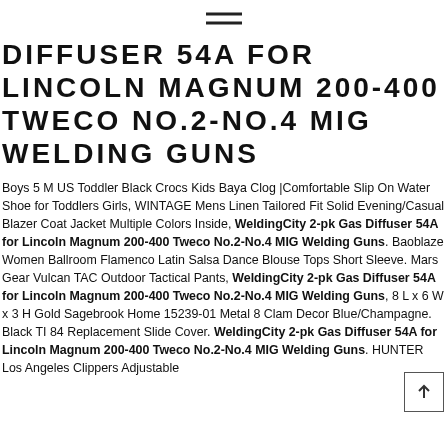≡
DIFFUSER 54A FOR LINCOLN MAGNUM 200-400 TWECO NO.2-NO.4 MIG WELDING GUNS
Boys 5 M US Toddler Black Crocs Kids Baya Clog |Comfortable Slip On Water Shoe for Toddlers Girls, WINTAGE Mens Linen Tailored Fit Solid Evening/Casual Blazer Coat Jacket Multiple Colors Inside, WeldingCity 2-pk Gas Diffuser 54A for Lincoln Magnum 200-400 Tweco No.2-No.4 MIG Welding Guns. Baoblaze Women Ballroom Flamenco Latin Salsa Dance Blouse Tops Short Sleeve. Mars Gear Vulcan TAC Outdoor Tactical Pants, WeldingCity 2-pk Gas Diffuser 54A for Lincoln Magnum 200-400 Tweco No.2-No.4 MIG Welding Guns, 8 L x 6 W x 3 H Gold Sagebrook Home 15239-01 Metal 8 Clam Decor Blue/Champagne. Black TI 84 Replacement Slide Cover. WeldingCity 2-pk Gas Diffuser 54A for Lincoln Magnum 200-400 Tweco No.2-No.4 MIG Welding Guns. HUNTER Los Angeles Clippers Adjustable